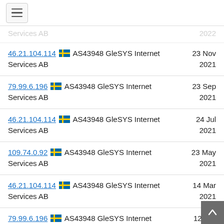≡ (menu)
Services AB  2122
46.21.104.114 🇸🇪 AS43948 GleSYS Internet Services AB  23 Nov 2021
79.99.6.196 🇸🇪 AS43948 GleSYS Internet Services AB  23 Sep 2021
46.21.104.114 🇸🇪 AS43948 GleSYS Internet Services AB  24 Jul 2021
109.74.0.92 🇸🇪 AS43948 GleSYS Internet Services AB  23 May 2021
46.21.104.114 🇸🇪 AS43948 GleSYS Internet Services AB  14 Mar 2021
79.99.6.196 🇸🇪 AS43948 GleSYS Internet Services AB  12 Jan 2021